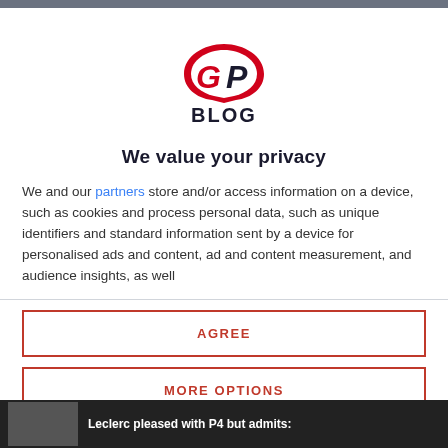[Figure (logo): GPBlog logo — red stylized GP lettering with BLOG in dark navy below]
We value your privacy
We and our partners store and/or access information on a device, such as cookies and process personal data, such as unique identifiers and standard information sent by a device for personalised ads and content, ad and content measurement, and audience insights, as well
AGREE
MORE OPTIONS
Leclerc pleased with P4 but admits: